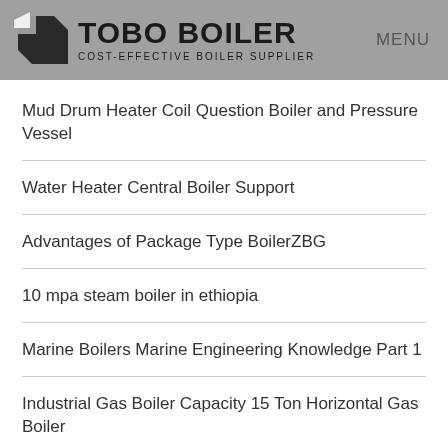TOBO BOILER COST-EFFECTIVE BOILER SUPPLIER | MENU
Mud Drum Heater Coil Question Boiler and Pressure Vessel
Water Heater Central Boiler Support
Advantages of Package Type BoilerZBG
10 mpa steam boiler in ethiopia
Marine Boilers Marine Engineering Knowledge Part 1
Industrial Gas Boiler Capacity 15 Ton Horizontal Gas Boiler